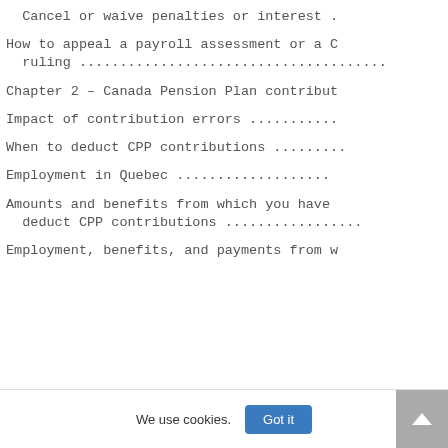Cancel or waive penalties or interest .
How to appeal a payroll assessment or a C ruling .......................................
Chapter 2 – Canada Pension Plan contribut
Impact of contribution errors ...........
When to deduct CPP contributions .........
Employment in Quebec ...................
Amounts and benefits from which you have deduct CPP contributions .................
Employment, benefits, and payments from w